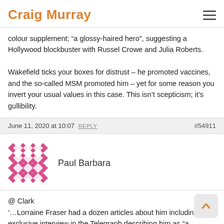Craig Murray
colour supplement; “a glossy-haired hero”, suggesting a Hollywood blockbuster with Russel Crowe and Julia Roberts.

Wakefield ticks your boxes for distrust – he promoted vaccines, and the so-called MSM promoted him – yet for some reason you invert your usual values in this case. This isn’t scepticism; it’s gullibility.
June 11, 2020 at 10:07 REPLY #54911
Paul Barbara
@ Clark
‘…Lorraine Fraser had a dozen articles about him including an exclusive interview in the Telegraph describing him as “a champion of parents who feel their fears have been ignored”…’